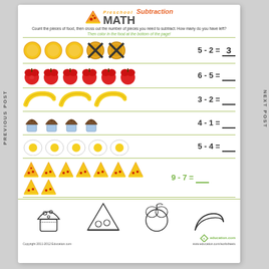Preschool MATH Subtraction
Count the pieces of food, then cross out the number of pieces you need to subtract. How many do you have left?
Then color in the food at the bottom of the page!
[Figure (illustration): Row 1: 5 orange circles (coins), 2 crossed out, equation 5 - 2 = 3]
[Figure (illustration): Row 2: 6 red apples, equation 6 - 5 = ___]
[Figure (illustration): Row 3: 3 bananas, equation 3 - 2 = ___]
[Figure (illustration): Row 4: 4 muffins/cupcakes, equation 4 - 1 = ___]
[Figure (illustration): Row 5: 5 fried eggs, equation 5 - 4 = ___]
[Figure (illustration): Row 6: 9 pizza slices, equation 9 - 7 = ___]
[Figure (illustration): Coloring section: outline drawings of muffin, pizza slice, apple, banana]
Copyright 2011-2012 Education.com  Created by: education.com  www.education.com/worksheets